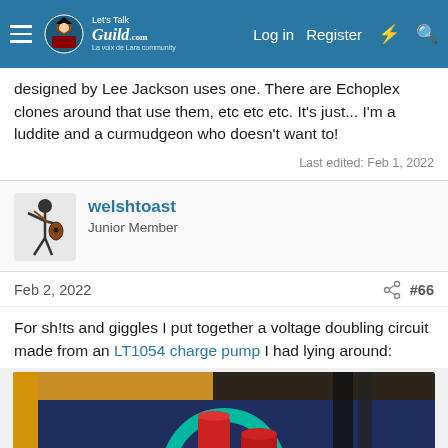Let's Talk Guild forum navigation bar with logo, Log in, Register links
designed by Lee Jackson uses one. There are Echoplex clones around that use them, etc etc etc. It's just... I'm a luddite and a curmudgeon who doesn't want to!
Last edited: Feb 1, 2022
welshtoast
Junior Member
Feb 2, 2022	#66
For sh!ts and giggles I put together a voltage doubling circuit made from an LT1054 charge pump I had lying around:
[Figure (photo): Close-up photo of electronic components on a dark blue surface with yellow and black wires/cables, featuring a teal/green circular ring and two red cylindrical capacitors]